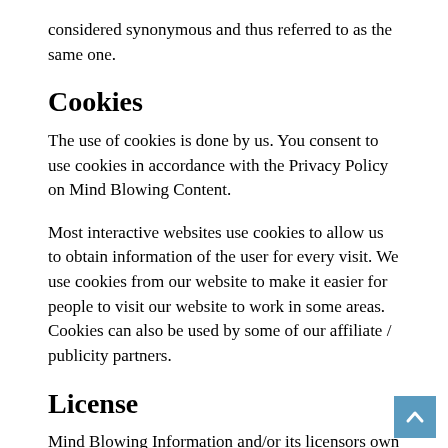considered synonymous and thus referred to as the same one.
Cookies
The use of cookies is done by us. You consent to use cookies in accordance with the Privacy Policy on Mind Blowing Content.
Most interactive websites use cookies to allow us to obtain information of the user for every visit. We use cookies from our website to make it easier for people to visit our website to work in some areas. Cookies can also be used by some of our affiliate / publicity partners.
License
Mind Blowing Information and/or its licensors own all materials on Mind Blowing Information in compliance with the intellectual property rights